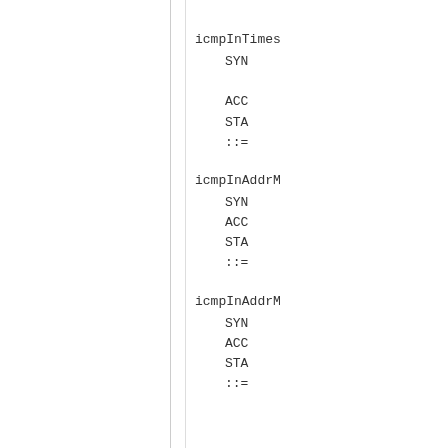icmpInTimestamps
    SYNTAX

    ACCESS
    STATUS
    ::=
icmpInAddrMasks
    SYNTAX
    ACCESS
    STATUS
    ::=
icmpInAddrMasks
    SYNTAX
    ACCESS
    STATUS
    ::=